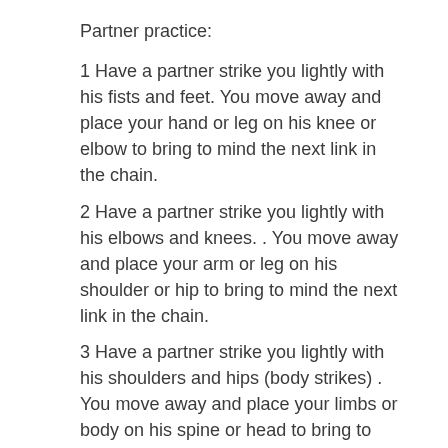Partner practice:
1 Have a partner strike you lightly with his fists and feet. You move away and place your hand or leg on his knee or elbow to bring to mind the next link in the chain.
2 Have a partner strike you lightly with his elbows and knees. . You move away and place your arm or leg on his shoulder or hip to bring to mind the next link in the chain.
3 Have a partner strike you lightly with his shoulders and hips (body strikes) . You move away and place your limbs or body on his spine or head to bring to mind the next link in the chain.
4.Repeat the practice with just one exhale to include inner pressure into the drill and even out the work